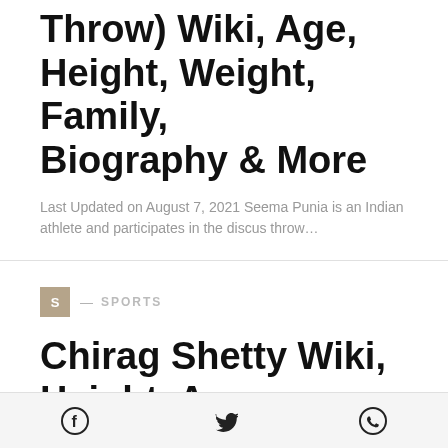Throw) Wiki, Age, Height, Weight, Family, Biography & More
Last Updated on August 7, 2021 Seema Punia is an Indian athlete and participates in the discus throw…
S — SPORTS
Chirag Shetty Wiki, Height, Age, Girlfriend, Family, Biography &
Facebook Twitter WhatsApp